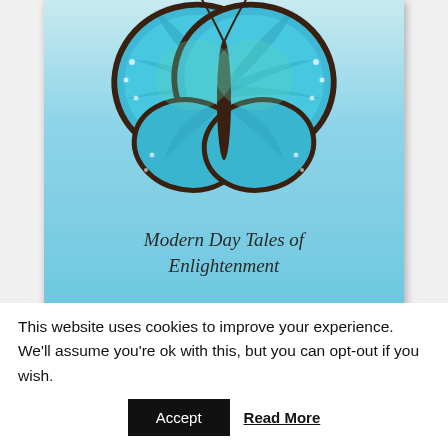[Figure (illustration): Book cover with a blue morpho butterfly on a light blue gradient background, with italic text reading 'Modern Day Tales of Enlightenment']
Modern Day Tales of Enlightenment
This website uses cookies to improve your experience. We'll assume you're ok with this, but you can opt-out if you wish.